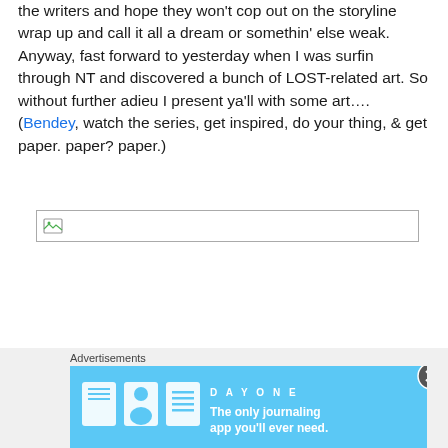the writers and hope they won't cop out on the storyline wrap up and call it all a dream or somethin' else weak. Anyway, fast forward to yesterday when I was surfin through NT and discovered a bunch of LOST-related art. So without further adieu I present ya'll with some art…. (Bendey, watch the series, get inspired, do your thing, & get paper. paper? paper.)
[Figure (other): Broken image placeholder with border and broken image icon]
Advertisements
[Figure (other): Advertisement banner for Day One journaling app with blue background, app icons, and text: The only journaling app you'll ever need.]